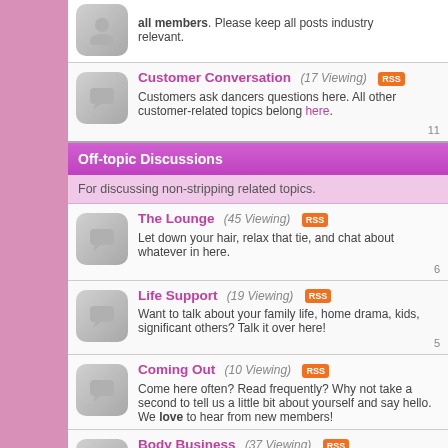all members. Please keep all posts industry relevant.
Customer Conversation (17 Viewing) Customers ask dancers questions here. All other customer-related topics belong here.
Off-topic Discussions
For discussing non-stripping related topics.
The Lounge (45 Viewing) Let down your hair, relax that tie, and chat about whatever in here.
Life Support (19 Viewing) Want to talk about your family life, home drama, kids, significant others? Talk it over here!
Coming Out (10 Viewing) Come here often? Read frequently? Why not take a second to tell us a little bit about yourself and say hello. We love to hear from new members!
Body Business (37 Viewing) Your body your business! Everything body related goes here: exercise, surgery, clothing, products, etc.